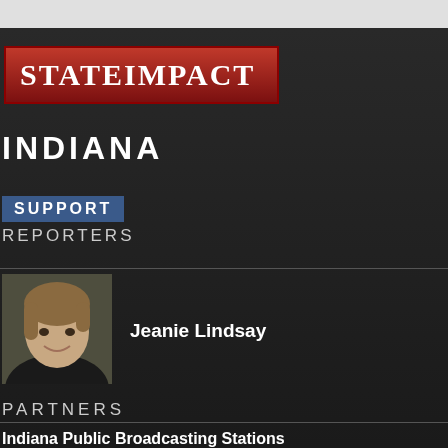StateImpact
INDIANA
SUPPORT
REPORTERS
[Figure (photo): Headshot photo of Jeanie Lindsay, a young woman with light brown hair, smiling]
Jeanie Lindsay
PARTNERS
Indiana Public Broadcasting Stations
Indianapolis, IN
WFIU
Bloomington, Ind.
WTIU